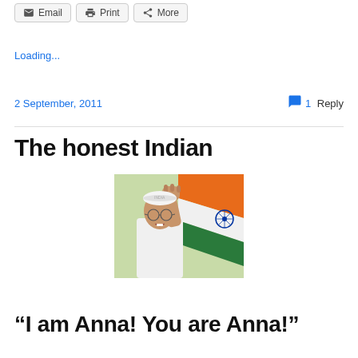Email  Print  More
Loading...
2 September, 2011  💬 1 Reply
The honest Indian
[Figure (photo): A man wearing a white Gandhi cap with fist raised, standing in front of an Indian tricolor flag. The man appears to be making a passionate speech or protest gesture, wearing white clothing with glasses.]
“I am Anna! You are Anna!”